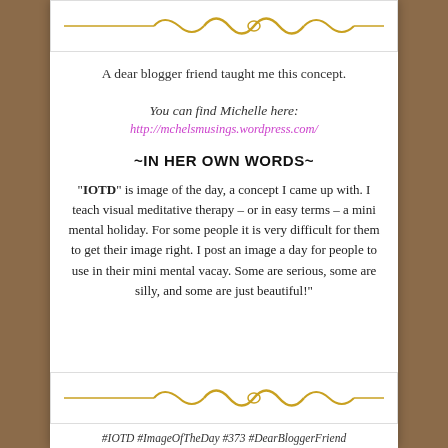[Figure (illustration): Decorative golden ornament / flourish divider inside a bordered box at the top of the white card]
A dear blogger friend taught me this concept.
You can find Michelle here:
http://mchelsmusings.wordpress.com/
~IN HER OWN WORDS~
“IOTD” is image of the day, a concept I came up with. I teach visual meditative therapy – or in easy terms – a mini mental holiday. For some people it is very difficult for them to get their image right. I post an image a day for people to use in their mini mental vacay. Some are serious, some are silly, and some are just beautiful!"
[Figure (illustration): Decorative golden ornament / flourish divider inside a bordered box at the bottom of the white card]
#IOTD #ImageOfTheDay #373 #DearBloggerFriend
#HerOwnWords #Serious #Silly #JustBeautiful